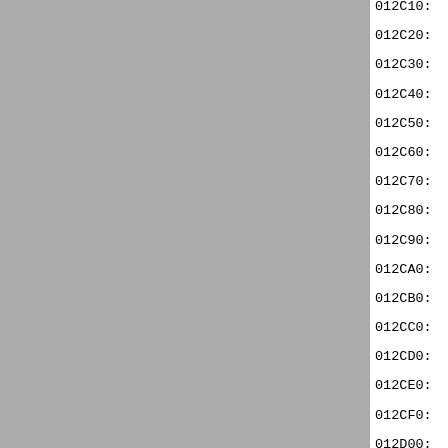[Figure (other): Gray panel on the left side of the page]
012C10: 00 00 00 00 F2 F0 B4 F0 F0
012C20: 0E EA C0 C0 C0 C0 C0 C0 84
012C30: DE DE DF 8A F4 FC F8 F0 F0
012C40: 50 F0 F0 00 44 B8 A4 00 51
012C50: 00 F2 F0 A0 20 00 00 00 00
012C60: 00 00 00 00 00 00 00 00 00
012C70: 50 A0 00 00 54 F0 B4 F0 F0
012C80: 84 0F 48 C0 C0 C0 C0 C0 5D
012C90: FF FF EF 8A F4 ED F8 A0 B1
012CA0: 50 58 F0 00 00 00 00 00 00
012CB0: 00 00 A0 20 20 20 00 B0 30
012CC0: 30 F0 B0 F0 F0 70 A4 30 20
012CD0: F0 70 F0 70 A0 F0 F0 F0 F0
012CE0: 33 33 33 0C 48 C0 C0 BB 33
012CF0: 04 04 04 00 00 00 00 00 00
012D00: 00 00 00 44 9C 3C 00 00 00
012D10: 00 00 00 00 00 20 00 A0 00
012D20: 30 30 50 00 00 04 70 F0 F0
012D30: F0 F0 F0 D8 F0 F0 F0 F0 A0
012D40: 24 F0 B1 33 33 33 72 A4 A0
012D50: C6 CC C9 CC CC 20 00 00 F1
012D60: 51 F1 F1 F3 F3 A2 A0 A0 A0
012D70: 50 A0 FC 74 00 00 00 00 00
012D80: 00 00 00 00 00 00 00 00 00
012D90: 00 00 00 00 00 00 00 00 00
012DA0: 00 00 00 00 00 00 00 00 00
012DB0: 00 00 00 00 00 00 00 00 00
012DC0: 00 00 00 00 00 00 00 00 00
012DD0: 00 00 00 00 00 00 00 00 00
012DE0: 00 00 00 00 00 00 00 00 00
012DF0: 00 00 00 00 00 00 00 00 00